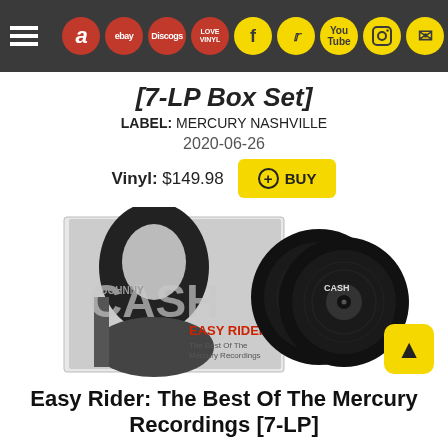[navigation bar with hamburger menu, store icons: Amazon, eBay, Discogs, Vinyl; social icons: Facebook, Twitter, YouTube, Instagram, Email]
[7-LP Box Set]
LABEL: MERCURY NASHVILLE
2020-06-26
Vinyl: $149.98  BUY
[Figure (photo): Product photo of Johnny Cash Easy Rider: The Best Of The Mercury Recordings 7-LP Box Set, showing album box with Johnny Cash holding guitar on cover, and two black vinyl records fanned out to the right]
Easy Rider: The Best Of The Mercury Recordings [7-LP]